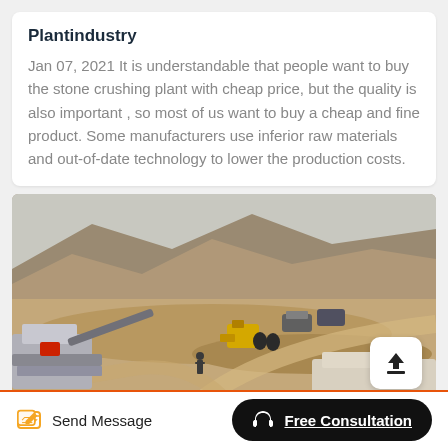Plantindustry
Jan 07, 2021 It is understandable that people want to buy the stone crushing plant with cheap price, but the quality is also important , so most of us want to buy a cheap and fine product. Some manufacturers use inferior raw materials and out-of-date technology to lower the production costs.
[Figure (photo): Aerial view of a stone crushing plant at a quarry/mining site with heavy machinery, conveyor belts, vehicles, and earth-moving equipment on a hillside terrain.]
Send Message
Free Consultation